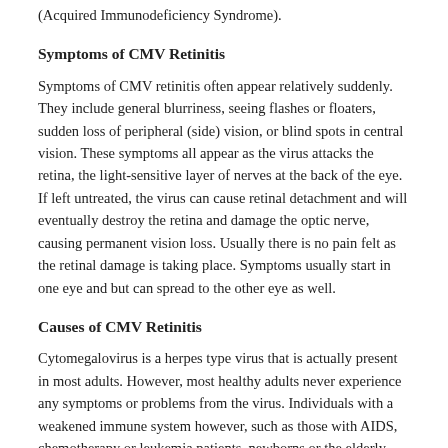(Acquired Immunodeficiency Syndrome).
Symptoms of CMV Retinitis
Symptoms of CMV retinitis often appear relatively suddenly. They include general blurriness, seeing flashes or floaters, sudden loss of peripheral (side) vision, or blind spots in central vision. These symptoms all appear as the virus attacks the retina, the light-sensitive layer of nerves at the back of the eye. If left untreated, the virus can cause retinal detachment and will eventually destroy the retina and damage the optic nerve, causing permanent vision loss. Usually there is no pain felt as the retinal damage is taking place. Symptoms usually start in one eye and but can spread to the other eye as well.
Causes of CMV Retinitis
Cytomegalovirus is a herpes type virus that is actually present in most adults. However, most healthy adults never experience any symptoms or problems from the virus. Individuals with a weakened immune system however, such as those with AIDS, chemotherapy or leukemia patients, newborns or the elderly